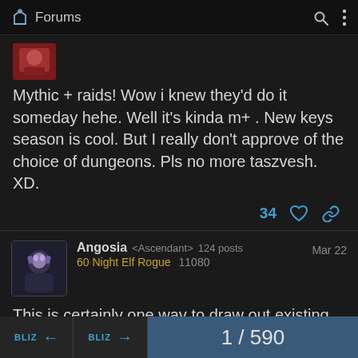Forums
[Figure (screenshot): Small red avatar thumbnail of a game character]
Mythic + raids! Wow i knew they'd do it someday hehe. Well it's kinda m+ . New keys season is cool. But I really don't approve of the choice of dungeons. Pls no more taszvesh. XD.
34 ♡ 🔗
Angosia <Ascendant> 124 posts
60 Night Elf Rogue 11080
Mar 22
This is certainly one way to draw out existing content before the next expansion.
BLIZ ← BLIZ → 1 / 590